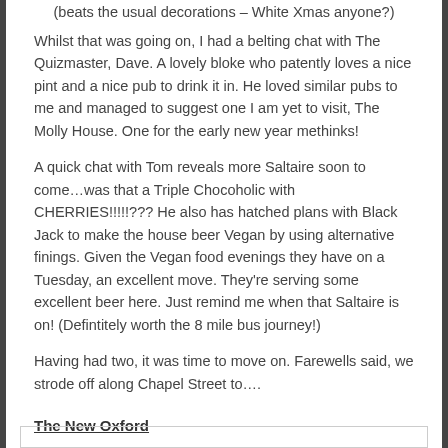(beats the usual decorations – White Xmas anyone?)
Whilst that was going on, I had a belting chat with The Quizmaster, Dave. A lovely bloke who patently loves a nice pint and a nice pub to drink it in. He loved similar pubs to me and managed to suggest one I am yet to visit, The Molly House. One for the early new year methinks!
A quick chat with Tom reveals more Saltaire soon to come…was that a Triple Chocoholic with CHERRIES!!!!!??? He also has hatched plans with Black Jack to make the house beer Vegan by using alternative finings. Given the Vegan food evenings they have on a Tuesday, an excellent move. They're serving some excellent beer here. Just remind me when that Saltaire is on! (Defintitely worth the 8 mile bus journey!)
Having had two, it was time to move on. Farewells said, we strode off along Chapel Street to….
The New Oxford
A perennial favourite of both myself and Jaz, but the first time for Col. Again, fairly quiet, bit of rock on the Juke.